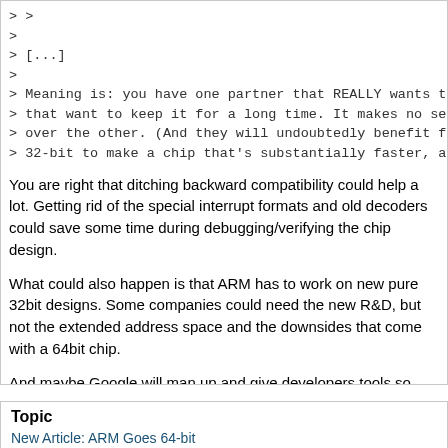> >
>
> [...]
>
> Meaning is: you have one partner that REALLY wants to ditch 32-b
> that want to keep it for a long time. It makes no sense for ARM to p
> over the other. (And they will undoubtedly benefit from the halo if Ap
> 32-bit to make a chip that's substantially faster, and makes ARM as
You are right that ditching backward compatibility could help a lot. Getting rid of the special interrupt formats and old decoders could save some time during debugging/verifying the chip design.
What could also happen is that ARM has to work on new pure 32bit designs. Some companies could need the new R&D, but not the extended address space and the downsides that come with a 64bit chip.
And maybe Google will man up and give developers tools so they can compile to their virtual machine without sacrificing speed/features. All the developers who pollute the market place with native binaries are a pain.
< Previous Post in Thread
Topic
New Article: ARM Goes 64-bit